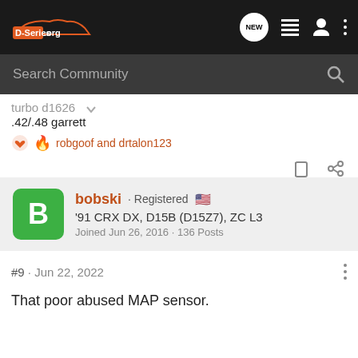D-Series.org
Search Community
turbo d1626
.42/.48 garrett
robgoof and drtalon123
bobski · Registered
'91 CRX DX, D15B (D15Z7), ZC L3
Joined Jun 26, 2016 · 136 Posts
#9 · Jun 22, 2022
That poor abused MAP sensor.